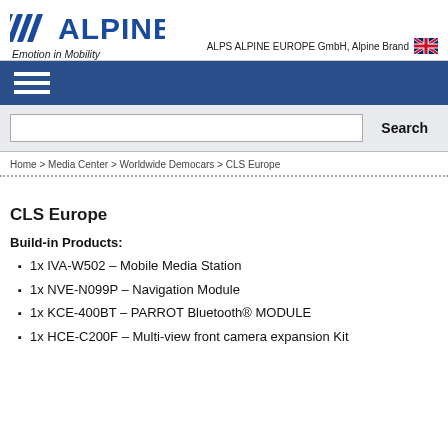ALPS ALPINE EUROPE GmbH, Alpine Brand — Emotion in Mobility
[Figure (logo): Alpine logo with slashes and ALPINE wordmark in blue]
Home > Media Center > Worldwide Democars > CLS Europe
CLS Europe
Build-in Products:
1x IVA-W502 – Mobile Media Station
1x NVE-N099P – Navigation Module
1x KCE-400BT – PARROT Bluetooth® MODULE
1x HCE-C200F – Multi-view front camera expansion Kit